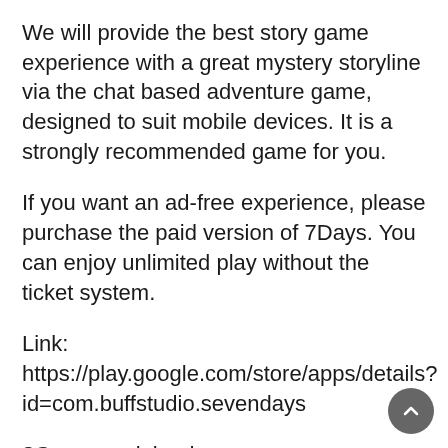We will provide the best story game experience with a great mystery storyline via the chat based adventure game, designed to suit mobile devices. It is a strongly recommended game for you.
If you want an ad-free experience, please purchase the paid version of 7Days. You can enjoy unlimited play without the ticket system.
Link: https://play.google.com/store/apps/details?id=com.buffstudio.sevendays
?Game explained
Every choice you make will change your story.
Every small choice will change your relationships with comrades.